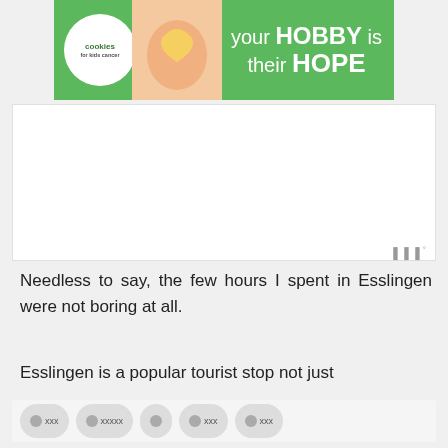[Figure (infographic): Advertisement banner for 'Cookies for Kids Cancer' with green background, circular logo on left, hands holding heart cookie image, and text 'your HOBBY is their HOPE']
[Figure (other): Large white/blank content area with a signal/cellular icon in the bottom right corner]
Needless to say, the few hours I spent in Esslingen were not boring at all.
Esslingen is a popular tourist stop not just
[Figure (other): Social share bar at the bottom with multiple sharing buttons]